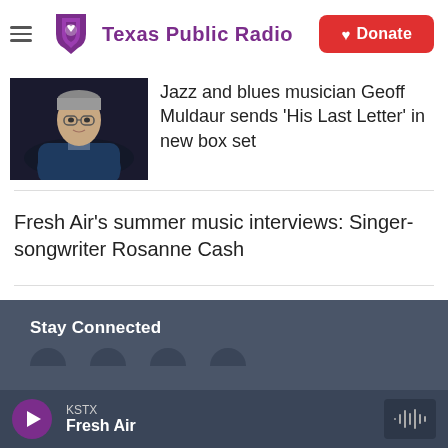Texas Public Radio
[Figure (photo): Portrait photo of Geoff Muldaur, an older man in a dark jacket seated against a dark background]
Jazz and blues musician Geoff Muldaur sends 'His Last Letter' in new box set
Fresh Air's summer music interviews: Singer-songwriter Rosanne Cash
Stay Connected
KSTX
Fresh Air